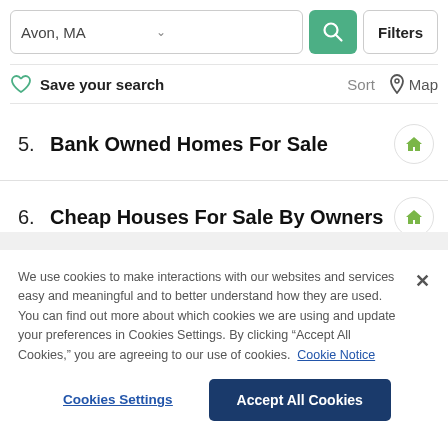[Figure (screenshot): Search bar with 'Avon, MA' text input, green search button, and Filters button]
Save your search   Sort   Map
5.  Bank Owned Homes For Sale
6.  Cheap Houses For Sale By Owners
We use cookies to make interactions with our websites and services easy and meaningful and to better understand how they are used. You can find out more about which cookies we are using and update your preferences in Cookies Settings. By clicking “Accept All Cookies,” you are agreeing to our use of cookies.  Cookie Notice
Cookies Settings   Accept All Cookies